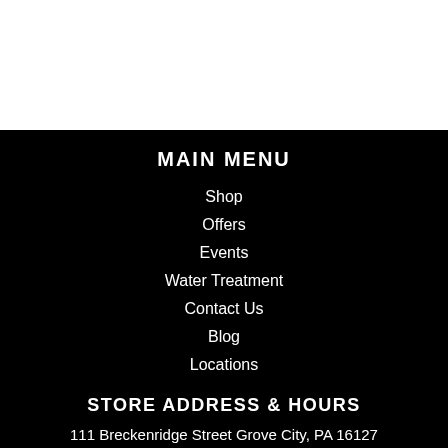MAIN MENU
Shop
Offers
Events
Water Treatment
Contact Us
Blog
Locations
STORE ADDRESS & HOURS
111 Breckenridge Street Grove City, PA 16127